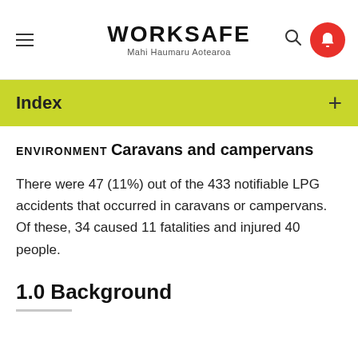WORKSAFE Mahi Haumaru Aotearoa
Index
ENVIRONMENT
Caravans and campervans
There were 47 (11%) out of the 433 notifiable LPG accidents that occurred in caravans or campervans. Of these, 34 caused 11 fatalities and injured 40 people.
1.0 Background